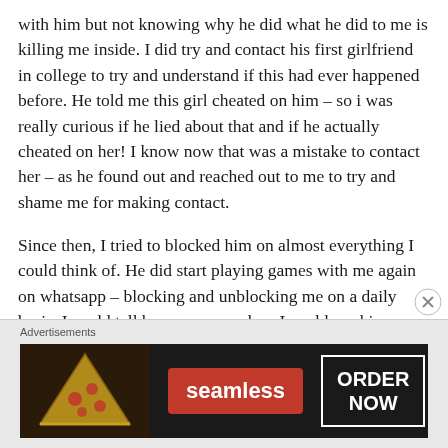with him but not knowing why he did what he did to me is killing me inside. I did try and contact his first girlfriend in college to try and understand if this had ever happened before. He told me this girl cheated on him – so i was really curious if he lied about that and if he actually cheated on her! I know now that was a mistake to contact her – as he found out and reached out to me to try and shame me for making contact.
Since then, I tried to blocked him on almost everything I could think of. He did start playing games with me again on whatsapp – blocking and unblocking me on a daily basis. I could tell because some days I could see his profile pic and other days I couldn't. I know I should've just blocked him and moved on – but I got sucked in.
Advertisements
[Figure (infographic): Seamless food delivery advertisement showing pizza image on the left, red Seamless logo in the center, and ORDER NOW button on the right, on a dark background.]